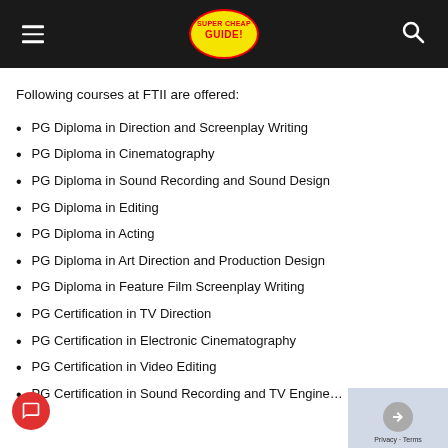Super Cheap Guide [logo]
Following courses at FTII are offered:
PG Diploma in Direction and Screenplay Writing
PG Diploma in Cinematography
PG Diploma in Sound Recording and Sound Design
PG Diploma in Editing
PG Diploma in Acting
PG Diploma in Art Direction and Production Design
PG Diploma in Feature Film Screenplay Writing
PG Certification in TV Direction
PG Certification in Electronic Cinematography
PG Certification in Video Editing
PG Certification in Sound Recording and TV Engineering